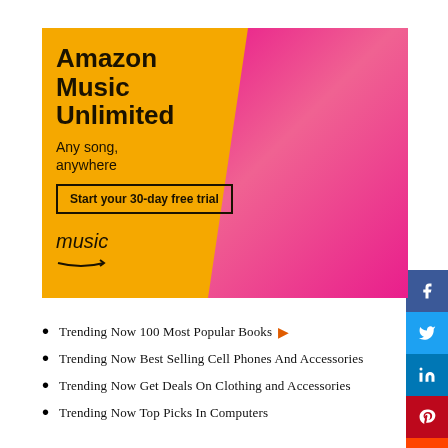[Figure (advertisement): Amazon Music Unlimited advertisement on yellow background with woman in pink jumpsuit. Text: Amazon Music Unlimited, Any song, anywhere. Button: Start your 30-day free trial. Amazon Music logo with arrow.]
Trending Now 100 Most Popular Books
Trending Now Best Selling Cell Phones And Accessories
Trending Now Get Deals On Clothing and Accessories
Trending Now Top Picks In Computers